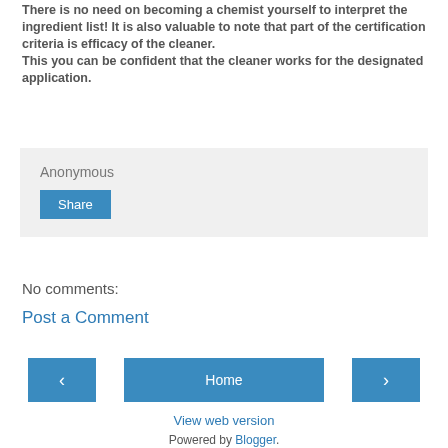There is no need on becoming a chemist yourself to interpret the ingredient list! It is also valuable to note that part of the certification criteria is efficacy of the cleaner. This you can be confident that the cleaner works for the designated application.
Anonymous
Share
No comments:
Post a Comment
‹
Home
›
View web version
Powered by Blogger.